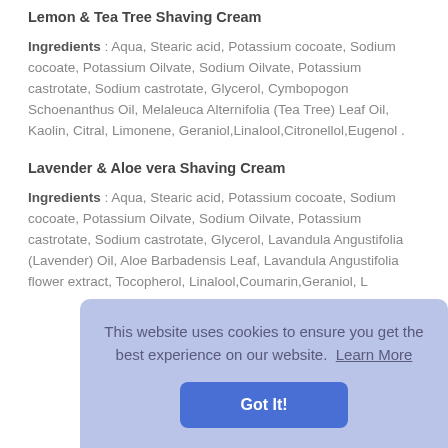Lemon & Tea Tree Shaving Cream
Ingredients : Aqua, Stearic acid, Potassium cocoate, Sodium cocoate, Potassium Oilvate, Sodium Oilvate, Potassium castrotate, Sodium castrotate, Glycerol, Cymbopogon Schoenanthus Oil, Melaleuca Alternifolia (Tea Tree) Leaf Oil, Kaolin, Citral, Limonene, Geraniol,Linalool,Citronellol,Eugenol .
Lavender & Aloe vera Shaving Cream
Ingredients : Aqua, Stearic acid, Potassium cocoate, Sodium cocoate, Potassium Oilvate, Sodium Oilvate, Potassium castrotate, Sodium castrotate, Glycerol, Lavandula Angustifolia (Lavender) Oil, Aloe Barbadensis Leaf, Lavandula Angustifolia flower extract, Tocopherol, Linalool,Coumarin,Geraniol, L...
This website uses cookies to ensure you get the best experience on our website. Learn More
Got It!